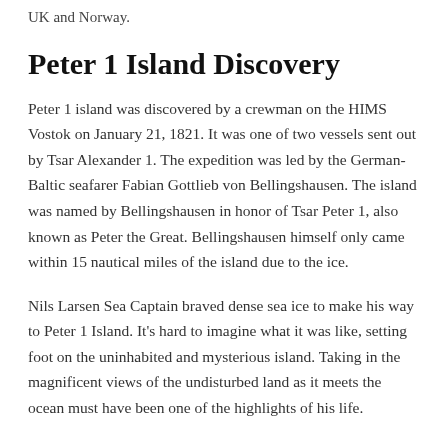UK and Norway.
Peter 1 Island Discovery
Peter 1 island was discovered by a crewman on the HIMS Vostok on January 21, 1821. It was one of two vessels sent out by Tsar Alexander 1. The expedition was led by the German-Baltic seafarer Fabian Gottlieb von Bellingshausen. The island was named by Bellingshausen in honor of Tsar Peter 1, also known as Peter the Great. Bellingshausen himself only came within 15 nautical miles of the island due to the ice.
Nils Larsen Sea Captain braved dense sea ice to make his way to Peter 1 Island. It’s hard to imagine what it was like, setting foot on the uninhabited and mysterious island. Taking in the magnificent views of the undisturbed land as it meets the ocean must have been one of the highlights of his life.